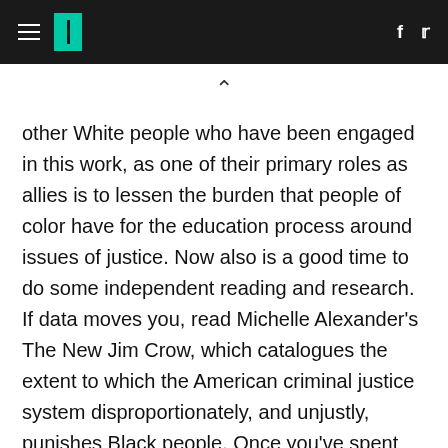HuffPost navigation with hamburger menu, logo, facebook and twitter icons
other White people who have been engaged in this work, as one of their primary roles as allies is to lessen the burden that people of color have for the education process around issues of justice. Now also is a good time to do some independent reading and research. If data moves you, read Michelle Alexander's The New Jim Crow, which catalogues the extent to which the American criminal justice system disproportionately, and unjustly, punishes Black people. Once you've spent some time educating yourself, then you should have some